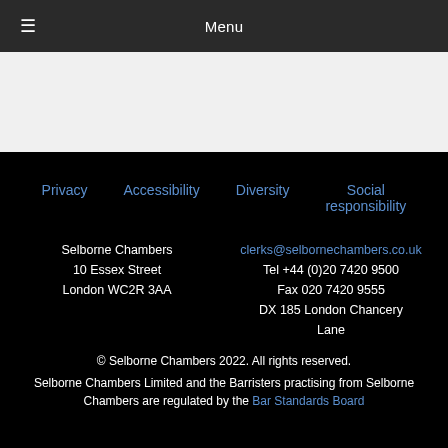Menu
Privacy  Accessibility  Diversity  Social responsibility
Selborne Chambers
10 Essex Street
London WC2R 3AA
clerks@selbornechambers.co.uk
Tel +44 (0)20 7420 9500
Fax 020 7420 9555
DX 185 London Chancery Lane
© Selborne Chambers 2022. All rights reserved.
Selborne Chambers Limited and the Barristers practising from Selborne Chambers are regulated by the Bar Standards Board